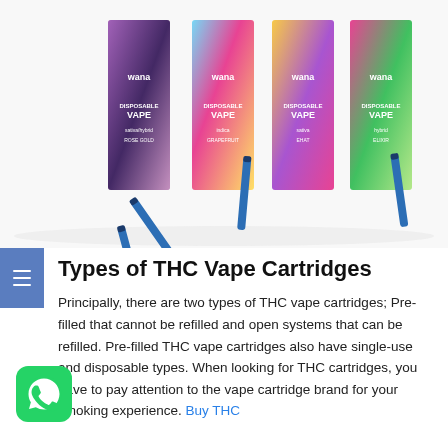[Figure (photo): Four Wana brand Disposable Vape product boxes in different colors (purple, blue/rainbow, yellow, pink/green) with vape pen cartridges in front, displayed on white background.]
Types of THC Vape Cartridges
Principally, there are two types of THC vape cartridges; Pre-filled that cannot be refilled and open systems that can be refilled. Pre-filled THC vape cartridges also have single-use and disposable types. When looking for THC cartridges, you have to pay attention to the vape cartridge brand for your smoking experience. Buy THC